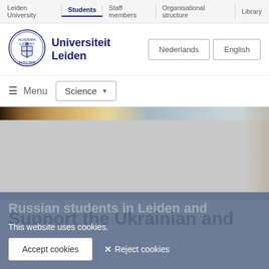Leiden University | Students | Staff members | Organisational structure | Library
[Figure (screenshot): Leiden University logo — circular seal with coat of arms in navy blue]
Universiteit Leiden
Nederlands  English
≡ Menu  Science ▼
[Figure (photo): Hero banner image — blurred interior scene, partially visible]
Support the Ukrainian and Russian students in Leiden and
This website uses cookies.
Accept cookies   ✕ Reject cookies